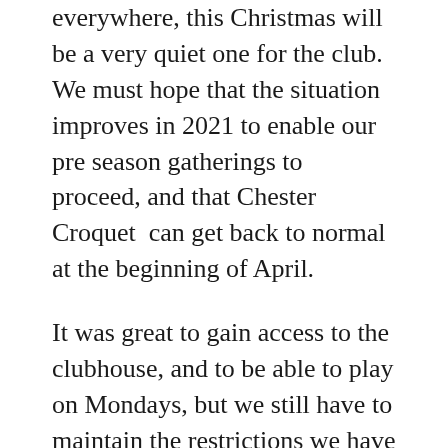everywhere, this Christmas will be a very quiet one for the club.  We must hope that the situation improves in 2021 to enable our pre season gatherings to proceed, and that Chester Croquet  can get back to normal at the beginning of April.
It was great to gain access to the clubhouse, and to be able to play on Mondays, but we still have to maintain the restrictions we have been operating under, particularly in view of the recent rise in the virus infection rate and the governments Rule of 6 limitations. So I am afraid  we must continue to social distance, use sanitisers, wash hands frequently, clean the croquet equipment and facilities after use, and limit others in the clubhouse...